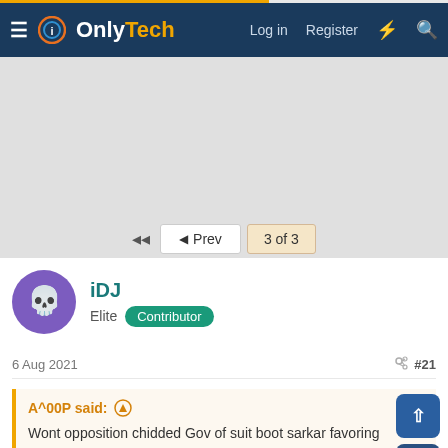OnlyTech — Log in  Register
[Figure (other): Gray advertisement placeholder area]
◄◄  ◄ Prev   3 of 3
iDJ
Elite  Contributor
6 Aug 2021  #21
A^00P said: ↑
Wont opposition chidded Gov of suit boot sarkar favoring buisness and ignoring common men/farmers